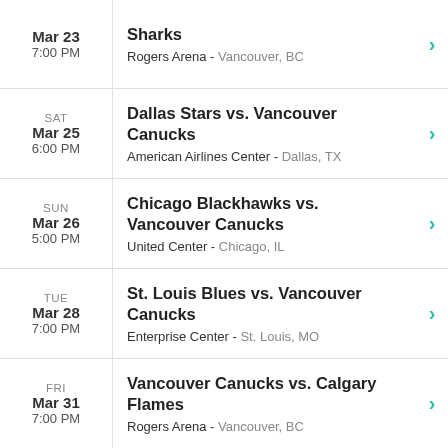Mar 23 7:00 PM — Sharks — Rogers Arena - Vancouver, BC
SAT Mar 25 6:00 PM — Dallas Stars vs. Vancouver Canucks — American Airlines Center - Dallas, TX
SUN Mar 26 5:00 PM — Chicago Blackhawks vs. Vancouver Canucks — United Center - Chicago, IL
TUE Mar 28 7:00 PM — St. Louis Blues vs. Vancouver Canucks — Enterprise Center - St. Louis, MO
FRI Mar 31 7:00 PM — Vancouver Canucks vs. Calgary Flames — Rogers Arena - Vancouver, BC